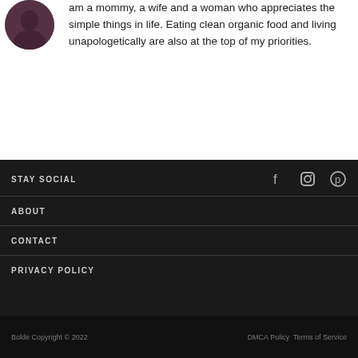[Figure (photo): Circular avatar photo of a woman, partially visible at top-left]
am a mommy, a wife and a woman who appreciates the simple things in life. Eating clean organic food and living unapologetically are also at the top of my priorities.
STAY SOCIAL
ABOUT
CONTACT
PRIVACY POLICY
Bolde Copyright © 2022    DMCA Policy Terms of Service